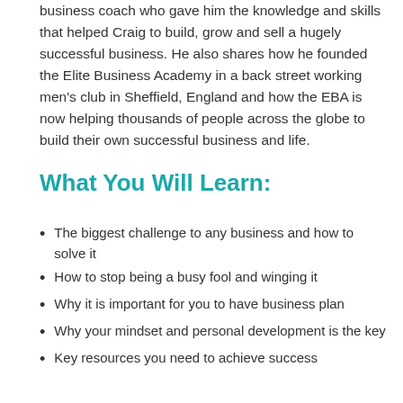business coach who gave him the knowledge and skills that helped Craig to build, grow and sell a hugely successful business. He also shares how he founded the Elite Business Academy in a back street working men's club in Sheffield, England and how the EBA is now helping thousands of people across the globe to build their own successful business and life.
What You Will Learn:
The biggest challenge to any business and how to solve it
How to stop being a busy fool and winging it
Why it is important for you to have business plan
Why your mindset and personal development is the key
Key resources you need to achieve success